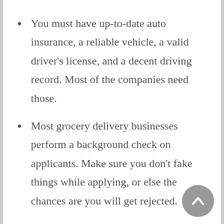You must have up-to-date auto insurance, a reliable vehicle, a valid driver's license, and a decent driving record. Most of the companies need those.
Most grocery delivery businesses perform a background check on applicants. Make sure you don't fake things while applying, or else the chances are you will get rejected.
Just like any other work from a home side hustle, you work as an independent